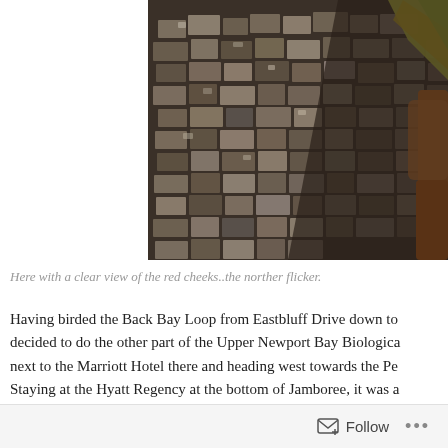[Figure (photo): Close-up photo of a bird, likely a Northern Flicker, clinging to a rough stone or bark surface. The bird shows textured dark and light feather patterns. Yellow-green and orange-yellow feathers visible on the right side. Stone wall or tree bark texture visible in background.]
Here with a clear view of the red cheeks..the norther flicker.
Having birded the Back Bay Loop from Eastbluff Drive down to decided to do the other part of the Upper Newport Bay Biologica next to the Marriott Hotel there and heading west towards the Pe Staying at the Hyatt Regency at the bottom of Jamboree, it was a
Follow ...